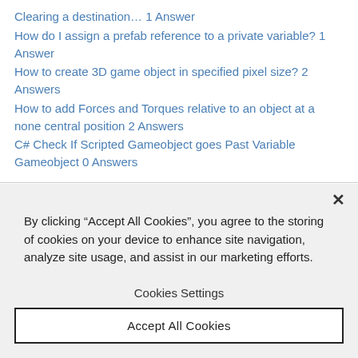Clearing a destination… 1 Answer
How do I assign a prefab reference to a private variable? 1 Answer
How to create 3D game object in specified pixel size? 2 Answers
How to add Forces and Torques relative to an object at a none central position 2 Answers
C# Check If Scripted Gameobject goes Past Variable Gameobject 0 Answers
By clicking “Accept All Cookies”, you agree to the storing of cookies on your device to enhance site navigation, analyze site usage, and assist in our marketing efforts.
Cookies Settings
Accept All Cookies